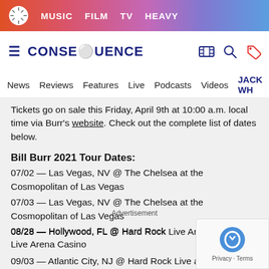MUSIC  FILM  TV  HEAVY
CONSEQUENCE
News  Reviews  Features  Live  Podcasts  Videos  JACK WH
Tickets go on sale this Friday, April 9th at 10:00 a.m. local time via Burr's website. Check out the complete list of dates below.
Bill Burr 2021 Tour Dates:
07/02 — Las Vegas, NV @ The Chelsea at the Cosmopolitan of Las Vegas
07/03 — Las Vegas, NV @ The Chelsea at the Cosmopolitan of Las Vegas
08/28 — Hollywood, FL @ Hard Rock Live Arena Casino
08/28 — Hollywood, FL @ Hard Rock Live Arena Casino
09/03 — Atlantic City, NJ @ Hard Rock Live at